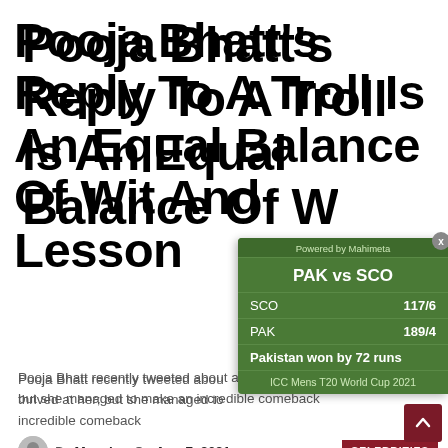Pooja Bhatt's Reply To A Troll Is An Equal Balance Of Wit And Lesson
Pooja Bhatt recently tweeted about a troll that thrived at her; but she managed to make an incredible comeback
By Mansi — On Aug 7, 2021
CELEBRITIES
[Figure (screenshot): Cricket score widget overlay showing PAK vs SCO match. Powered by Mahimeta. SCO: 117/6, PAK: 189/4. Pakistan won by 72 runs. ICC Mens T20 World Cup 2021.]
[Figure (photo): Photo of Pooja Bhatt, a woman with dark hair, against a brown background]